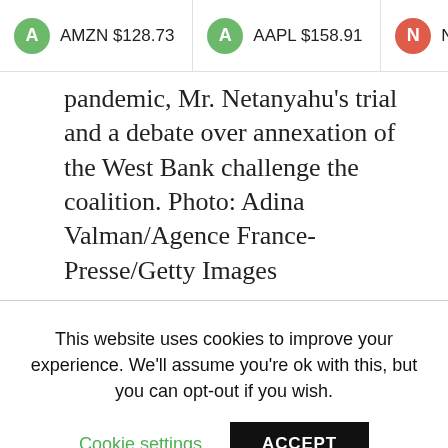A AMZN $128.73   A AAPL $158.91   N NFC.S
pandemic, Mr. Netanyahu's trial and a debate over annexation of the West Bank challenge the coalition. Photo: Adina Valman/Agence France-Presse/Getty Images
.
This website uses cookies to improve your experience. We'll assume you're ok with this, but you can opt-out if you wish.
Cookie settings   ACCEPT